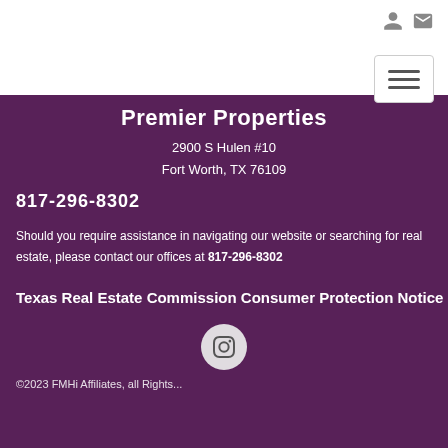Premier Properties
2900 S Hulen #10
Fort Worth, TX 76109
817-296-8302
Should you require assistance in navigating our website or searching for real estate, please contact our offices at 817-296-8302
Texas Real Estate Commission Consumer Protection Notice
[Figure (logo): Instagram icon inside a light grey circle]
©2023 FMHi Affiliates, all Rights...